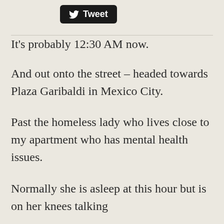[Figure (other): Twitter Tweet button with bird logo on black rounded rectangle background]
It's probably 12:30 AM now.
And out onto the street – headed towards Plaza Garibaldi in Mexico City.
Past the homeless lady who lives close to my apartment who has mental health issues.
Normally she is asleep at this hour but is on her knees talking